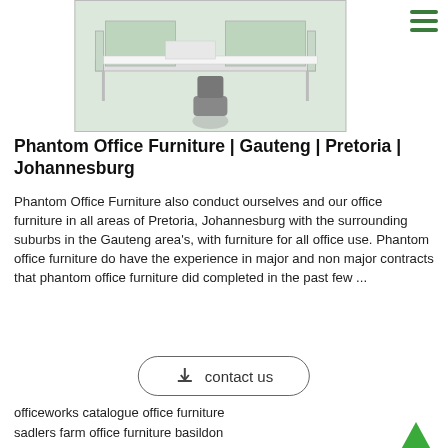[Figure (photo): Office furniture product image showing a white/green workstation desk system with a chair]
Phantom Office Furniture | Gauteng | Pretoria | Johannesburg
Phantom Office Furniture also conduct ourselves and our office furniture in all areas of Pretoria, Johannesburg with the surrounding suburbs in the Gauteng area's, with furniture for all office use. Phantom office furniture do have the experience in major and non major contracts that phantom office furniture did completed in the past few ...
[Figure (other): Contact us button with download icon]
officeworks catalogue office furniture
sadlers farm office furniture basildon
office furniture now phoenix
second hand office furniture malaga
office furniture suppliers north west
madison office furniture uk
open plan office furniture solutions brisbane
high gloss home office furniture
office desk with hutch and right return